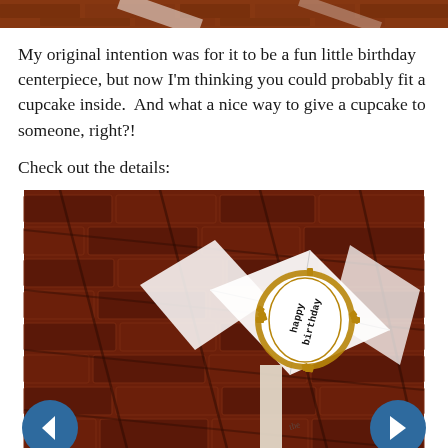[Figure (photo): Top cropped photo showing a brown/brick background, partially visible at top of page]
My original intention was for it to be a fun little birthday centerpiece, but now I'm thinking you could probably fit a cupcake inside.  And what a nice way to give a cupcake to someone, right?!
Check out the details:
[Figure (photo): Close-up photo of a paper craft birthday decoration shaped like a diamond/envelope with a gold-rimmed oval sticker reading 'happy birthday' on a stick, placed against a brick background. Navigation arrows (left and right) visible on either side.]